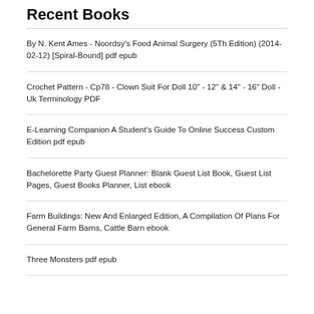Recent Books
By N. Kent Ames - Noordsy's Food Animal Surgery (5Th Edition) (2014-02-12) [Spiral-Bound] pdf epub
Crochet Pattern - Cp78 - Clown Suit For Doll 10" - 12" & 14" - 16" Doll - Uk Terminology PDF
E-Learning Companion A Student's Guide To Online Success Custom Edition pdf epub
Bachelorette Party Guest Planner: Blank Guest List Book, Guest List Pages, Guest Books Planner, List ebook
Farm Buildings: New And Enlarged Edition, A Compilation Of Plans For General Farm Barns, Cattle Barn ebook
Three Monsters pdf epub